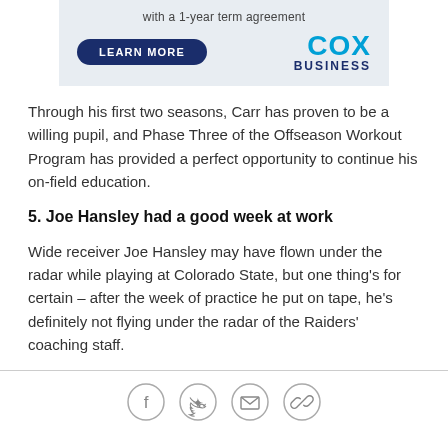[Figure (other): Cox Business advertisement banner with 'with a 1-year term agreement' tagline, a 'LEARN MORE' dark blue button, and the Cox Business logo in blue and dark navy.]
Through his first two seasons, Carr has proven to be a willing pupil, and Phase Three of the Offseason Workout Program has provided a perfect opportunity to continue his on-field education.
5. Joe Hansley had a good week at work
Wide receiver Joe Hansley may have flown under the radar while playing at Colorado State, but one thing's for certain – after the week of practice he put on tape, he's definitely not flying under the radar of the Raiders' coaching staff.
[Figure (other): Social share icons: Facebook, Twitter, Email, and a chain/link icon, displayed as circular outlined buttons.]